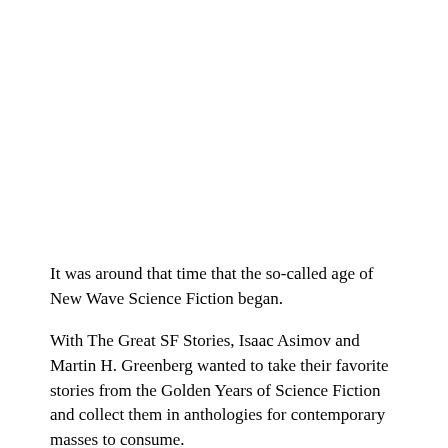It was around that time that the so-called age of New Wave Science Fiction began.
With The Great SF Stories, Isaac Asimov and Martin H. Greenberg wanted to take their favorite stories from the Golden Years of Science Fiction and collect them in anthologies for contemporary masses to consume.
The first Great SF Stories anthology was not the first of